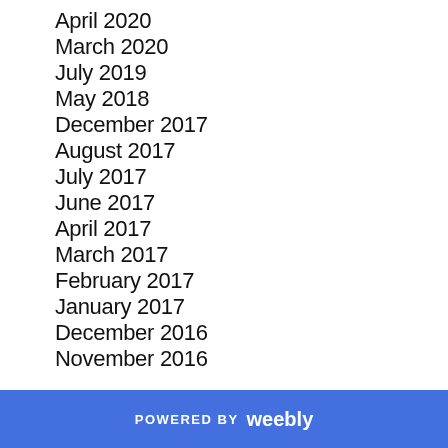April 2020
March 2020
July 2019
May 2018
December 2017
August 2017
July 2017
June 2017
April 2017
March 2017
February 2017
January 2017
December 2016
November 2016
POWERED BY weebly